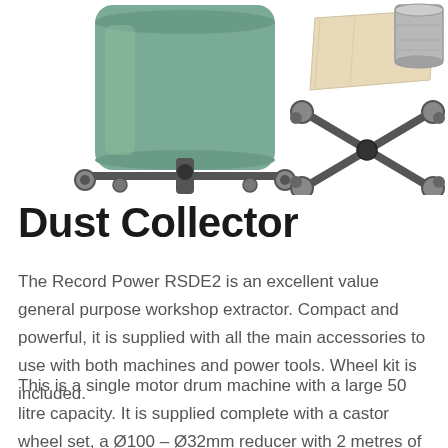[Figure (illustration): Product image showing a green cylindrical dust collector drum on castor wheels on the left, and on the right side the accessories: a beige/cream filter bag, a metal cylindrical connector/port fitting, and a cross-shaped castor wheel frame base.]
Dust Collector
The Record Power RSDE2 is an excellent value general purpose workshop extractor. Compact and powerful, it is supplied with all the main accessories to use with both machines and power tools. Wheel kit is included.
This is a single motor drum machine with a large 50 litre capacity. It is supplied complete with a castor wheel set, a Ø100 – Ø32mm reducer with 2 metres of Ø32mm hose, 2 metres of 100mm hose, 5 spare paper filters and an easy fit cuff